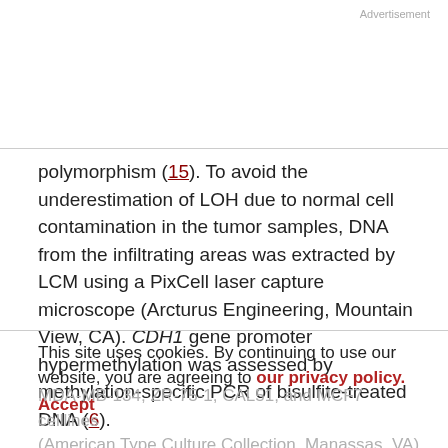Advertisement
polymorphism (15). To avoid the underestimation of LOH due to normal cell contamination in the tumor samples, DNA from the infiltrating areas was extracted by LCM using a PixCell laser capture microscope (Arcturus Engineering, Mountain View, CA). CDH1 gene promoter hypermethylation was assessed by methylation-specific PCR of bisulfite-treated DNA (6).
This site uses cookies. By continuing to use our website, you are agreeing to our privacy policy. Accept
MDA-MB-134, ZR-75-1, CAL51, and MCF7 celllines (American Type Culture Collection, Manassas, VA) were